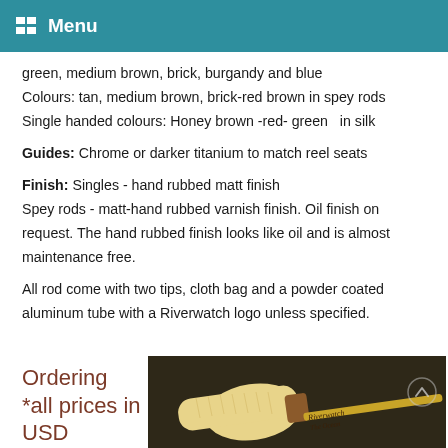Menu
green, medium brown, brick, burgandy and blue
Colours:  tan, medium brown, brick-red brown in spey rods
Single handed colours:  Honey brown -red- green   in silk
Guides:  Chrome or darker titanium to match reel seats
Finish:   Singles - hand rubbed matt finish
Spey rods -  matt-hand rubbed varnish finish.  Oil finish on request. The hand rubbed finish looks like oil and is almost maintenance free.
All rod come with two tips, cloth bag and a powder coated aluminum tube with a Riverwatch logo unless specified.
Ordering
*all prices in USD
[Figure (photo): Photo of a fishing rod handle/grip with 'Riverwatch' and 'The Ocean' text visible on the rod, set against a dark background.]